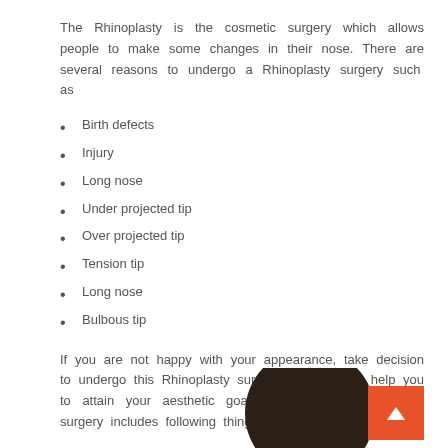The Rhinoplasty is the cosmetic surgery which allows people to make some changes in their nose. There are several reasons to undergo a Rhinoplasty surgery such as
Birth defects
Injury
Long nose
Under projected tip
Over projected tip
Tension tip
Long nose
Bulbous tip
If you are not happy with your appearance, take decision to undergo this Rhinoplasty surgery which would help you to attain your aesthetic goal. In fact, this Rhinoplasty surgery includes following things and that are.
Make
change
[Figure (photo): Partial photo of a person's head with dark hair, visible from the top, positioned at the bottom right of the page]